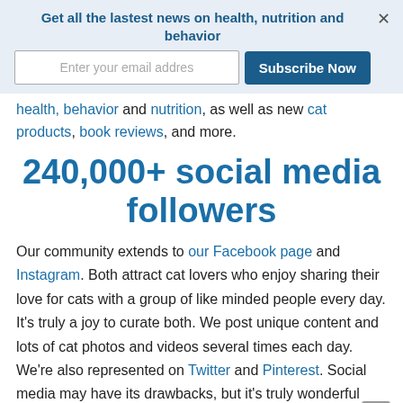Get all the lastest news on health, nutrition and behavior
health, behavior and nutrition, as well as new cat products, book reviews, and more.
240,000+ social media followers
Our community extends to our Facebook page and Instagram. Both attract cat lovers who enjoy sharing their love for cats with a group of like minded people every day. It's truly a joy to curate both. We post unique content and lots of cat photos and videos several times each day. We're also represented on Twitter and Pinterest. Social media may have its drawbacks, but it's truly wonderful when it